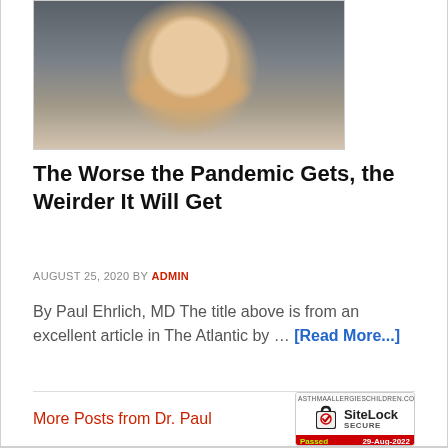[Figure (photo): Head and shoulders photo of an older man smiling, wearing a light blue shirt, against a blurred background]
The Worse the Pandemic Gets, the Weirder It Will Get
AUGUST 25, 2020 BY ADMIN
By Paul Ehrlich, MD The title above is from an excellent article in The Atlantic by … [Read More...]
More Posts from Dr. Paul
[Figure (logo): SiteLock SECURE badge — Passed 29-Aug-2022]